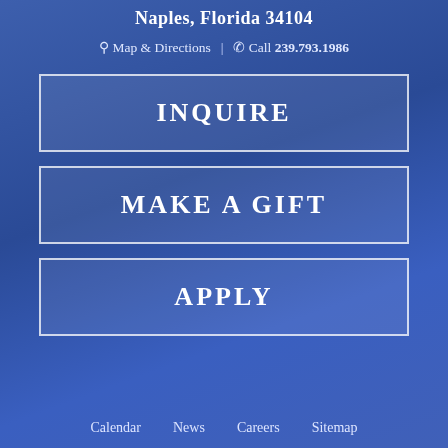Naples, Florida 34104
🗺 Map & Directions  |  📞 Call 239.793.1986
INQUIRE
MAKE A GIFT
APPLY
Calendar   News   Careers   Sitemap